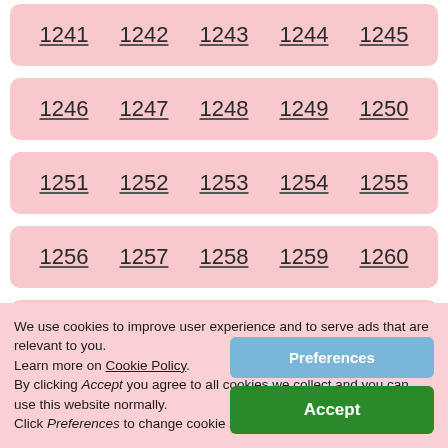1241 1242 1243 1244 1245
1246 1247 1248 1249 1250
1251 1252 1253 1254 1255
1256 1257 1258 1259 1260
1261 1262 1263 1264 1265
1266 1267 1268 1269 1270
We use cookies to improve user experience and to serve ads that are relevant to you. Learn more on Cookie Policy. By clicking Accept you agree to all cookies we collect and you can use this website normally. Click Preferences to change cookie settings.